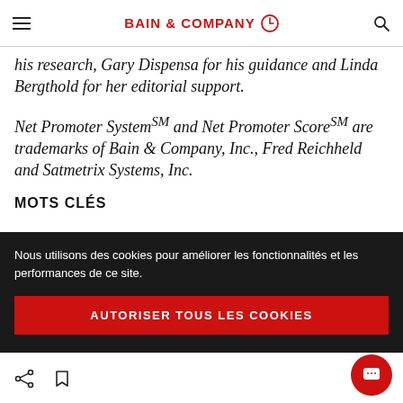BAIN & COMPANY
his research, Gary Dispensa for his guidance and Linda Bergthold for her editorial support.
Net Promoter System℠ and Net Promoter Score℠ are trademarks of Bain & Company, Inc., Fred Reichheld and Satmetrix Systems, Inc.
MOTS CLÉS
Nous utilisons des cookies pour améliorer les fonctionnalités et les performances de ce site.
AUTORISER TOUS LES COOKIES